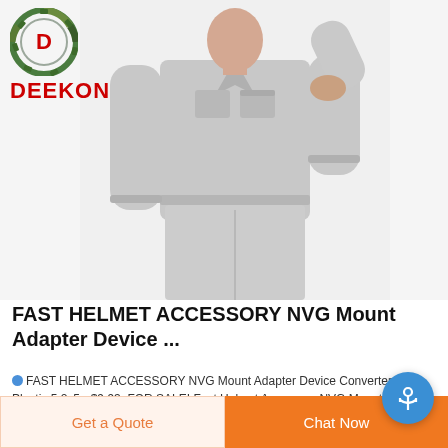[Figure (photo): Person wearing a light gray work uniform (jacket and pants), upper body shown, with DEEKON brand logo in top-left corner]
FAST HELMET ACCESSORY NVG Mount Adapter Device ...
FAST HELMET ACCESSORY NVG Mount Adapter Device Converter ABS Plastic 5.2x5 - $9.93. FOR SALE! Fast Helmet Accessory NVG Mount Adapter Device Converter ABS Plastic 5.2x5 Description: 23391499